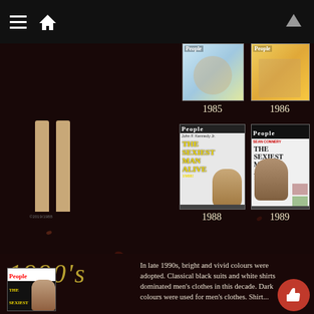Navigation bar with hamburger menu, home icon, and up arrow
[Figure (photo): Dark collage with person's legs visible, scattered rose petals on dark background, People magazine covers for 1985, 1986, 1988 (JFK Jr. Sexiest Man Alive), 1989 (Sean Connery Sexiest Man Alive)]
1985
1986
1988
1989
1990's
In late 1990s, bright and vivid colours were adopted. Classical black suits and white shirts dominated men's clothes in this decade. Dark colours were used for men's clothes. Shirt...